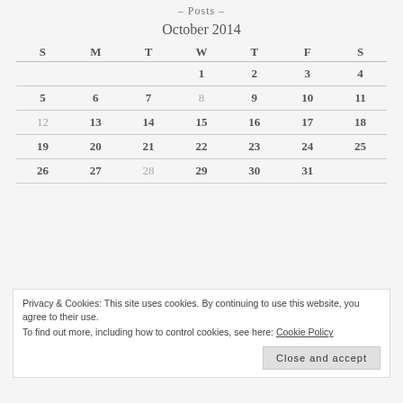– Posts –
October 2014
| S | M | T | W | T | F | S |
| --- | --- | --- | --- | --- | --- | --- |
|  |  |  | 1 | 2 | 3 | 4 |
| 5 | 6 | 7 | 8 | 9 | 10 | 11 |
| 12 | 13 | 14 | 15 | 16 | 17 | 18 |
| 19 | 20 | 21 | 22 | 23 | 24 | 25 |
| 26 | 27 | 28 | 29 | 30 | 31 |  |
Privacy & Cookies: This site uses cookies. By continuing to use this website, you agree to their use. To find out more, including how to control cookies, see here: Cookie Policy
Close and accept